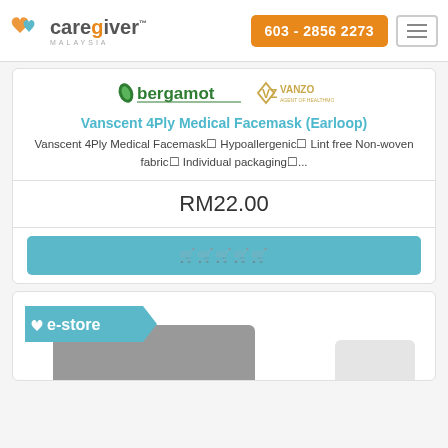[Figure (logo): CareGiver Malaysia logo with heart icon, orange and teal colors]
603 - 2856 2273
[Figure (logo): Hamburger menu button]
[Figure (logo): Bergamot and Vanzo brand logos]
Vanscent 4Ply Medical Facemask (Earloop)
Vanscent 4Ply Medical Facemask✔ Hypoallergenic✔ Lint free Non-woven fabric✔ Individual packaging✔...
RM22.00
🛒🛒🛒🛒🛒
[Figure (logo): e-store badge and partial product image at bottom of page]